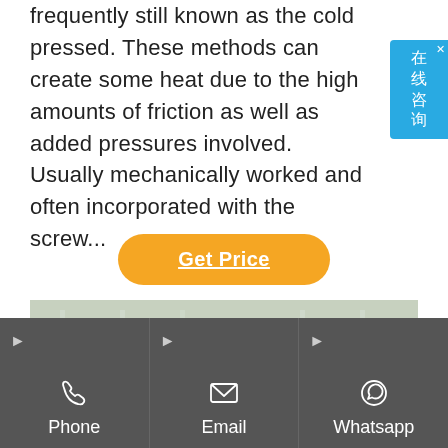frequently still known as the cold pressed. These methods can create some heat due to the high amounts of friction as well as added pressures involved. Usually mechanically worked and often incorporated with the screw...
[Figure (illustration): Chinese online chat widget (在线咨询) with blue background and close button]
Get Price
[Figure (photo): Industrial machinery with white metal scaffolding/frame structure inside a factory building with green equipment visible in the background]
Phone | Email | Whatsapp